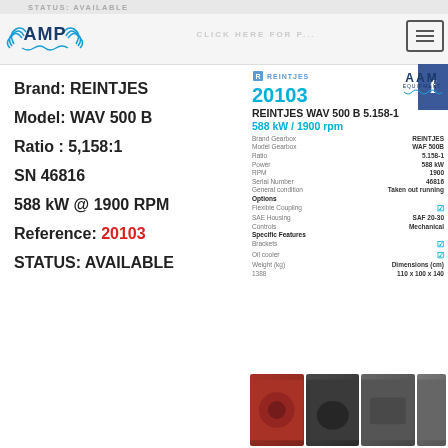STATUS: AVAILABLE
[Figure (logo): AMP logo with wings]
CLICK HERE FOR P...
Brand: REINTJES
Model: WAV 500 B
Ratio : 5,158:1
SN 46816
588 kW @ 1900 RPM
Reference: 20103
STATUS: AVAILABLE
[Figure (logo): REINTJES brand logo small]
20103
REINTJES WAV 500 B 5.158-1
588 kW / 1900 rpm
| Field | Value |
| --- | --- |
| Brand Gearbox | REINTJES |
| Model Gearbox | WAV 500B |
| Ratio | 5.158-1 |
| Power | 588 kW |
| RPM | 1900 |
| Serial Number | 46816 |
| General condition | Taken out running |
| Options |  |
| Flexible Coupling | ☑ |
| SAE Housing | SAF 20-30 |
| Controls | Mechanical |
| Specific Features |  |
| Brackets | ☑ |
| Oil cooler | ☑ |
| Weight (kg) | Dimensions (cm) |
| 1388 | 110 x 100 x 140 |
[Figure (logo): AAM Equipment logo]
[Figure (photo): Photo 1 of gearbox unit, orange/red colored]
[Figure (photo): Photo 2 of gearbox unit, dark view]
[Figure (photo): Photo 3 of gearbox unit, gray view]
[Figure (photo): Photo 4 partial, gearbox side]